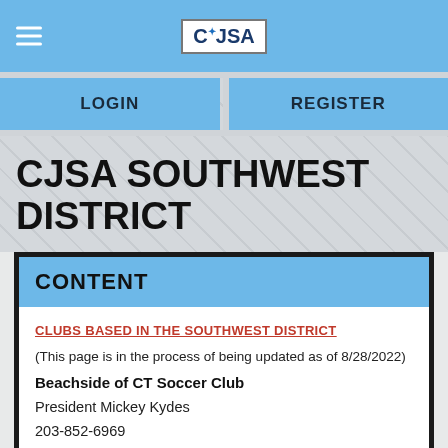CJSA (logo)
LOGIN
REGISTER
CJSA SOUTHWEST DISTRICT
CONTENT
CLUBS BASED IN THE SOUTHWEST DISTRICT
(This page is in the process of being updated as of 8/28/2022)
Beachside of CT Soccer Club
President Mickey Kydes
203-852-6969